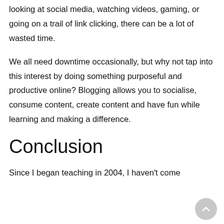looking at social media, watching videos, gaming, or going on a trail of link clicking, there can be a lot of wasted time.
We all need downtime occasionally, but why not tap into this interest by doing something purposeful and productive online? Blogging allows you to socialise, consume content, create content and have fun while learning and making a difference.
Conclusion
Since I began teaching in 2004, I haven't come